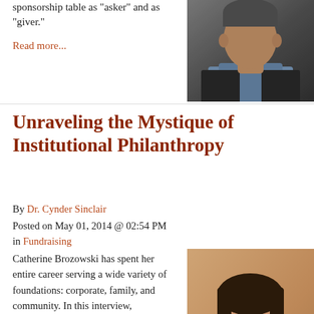sponsorship table as 'asker' and as "giver."
Read more...
[Figure (photo): Headshot of a man in a dark suit and light blue shirt against a dark background]
Unraveling the Mystique of Institutional Philanthropy
By Dr. Cynder Sinclair
Posted on May 01, 2014 @ 02:54 PM in Fundraising
[Figure (photo): Headshot of a woman with dark hair smiling, against a warm beige background]
Catherine Brozowski has spent her entire career serving a wide variety of foundations: corporate, family, and community. In this interview, Brozowski shares her unique and incredibly valuable perspective on the most effective strategies...